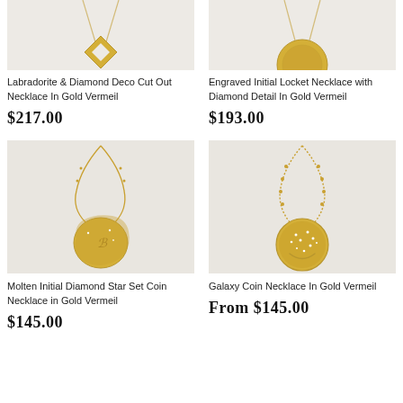[Figure (photo): Partial top view of Labradorite & Diamond Deco Cut Out Necklace in Gold Vermeil, cropped showing pendant top]
[Figure (photo): Partial top view of Engraved Initial Locket Necklace with Diamond Detail in Gold Vermeil, cropped showing circular gold top]
Labradorite & Diamond Deco Cut Out Necklace In Gold Vermeil
$217.00
Engraved Initial Locket Necklace with Diamond Detail In Gold Vermeil
$193.00
[Figure (photo): Molten Initial Diamond Star Set Coin Necklace in Gold Vermeil — gold chain with irregular organic coin pendant with engraved initial and star set diamond, on light grey background]
[Figure (photo): Galaxy Coin Necklace In Gold Vermeil — gold textured chain with round coin pendant featuring diamond star/constellation pattern on light grey background]
Molten Initial Diamond Star Set Coin Necklace in Gold Vermeil
$145.00
Galaxy Coin Necklace In Gold Vermeil
From $145.00